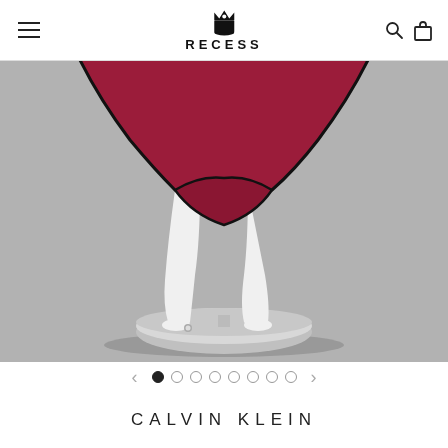RECESS
[Figure (photo): A white mannequin wearing a crimson/dark red structured skirt with black trim edges, photographed from the waist down. The mannequin stands on a round silver metal base. The background is grey.]
< • ○ ○ ○ ○ ○ ○ ○ >
CALVIN KLEIN